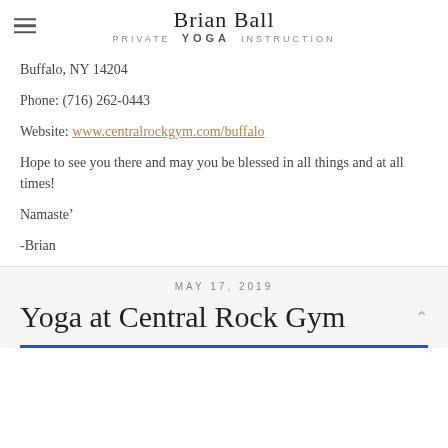Brian Ball Private YOGA Instruction
Buffalo, NY 14204
Phone: (716) 262-0443
Website: www.centralrockgym.com/buffalo
Hope to see you there and may you be blessed in all things and at all times!
Namaste’
-Brian
MAY 17, 2019
Yoga at Central Rock Gym